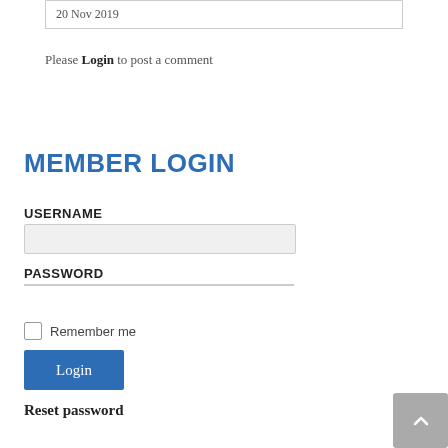20 Nov 2019
Please Login to post a comment
MEMBER LOGIN
USERNAME
PASSWORD
Remember me
Login
Reset password